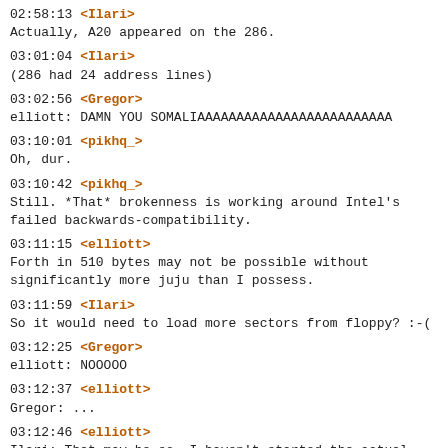02:58:13 <Ilari>
Actually, A20 appeared on the 286.
03:01:04 <Ilari>
(286 had 24 address lines)
03:02:56 <Gregor>
elliott: DAMN YOU SOMALIAAAAAAAAAAAAAAAAAAAAAAAAA
03:10:01 <pikhq_>
Oh, dur.
03:10:42 <pikhq_>
Still. *That* brokenness is working around Intel's
failed backwards-compatibility.
03:11:15 <elliott>
Forth in 510 bytes may not be possible without
significantly more juju than I possess.
03:11:59 <Ilari>
So it would need to load more sectors from floppy? :-(
03:12:25 <Gregor>
elliott: NOOOOO
03:12:37 <elliott>
Gregor: ...
03:12:46 <elliott>
Ilari: That may be so. I haven't started the actual
Forth part yet.
03:12:58 <elliott>
I'm just thinking that all my protected mode stuff is